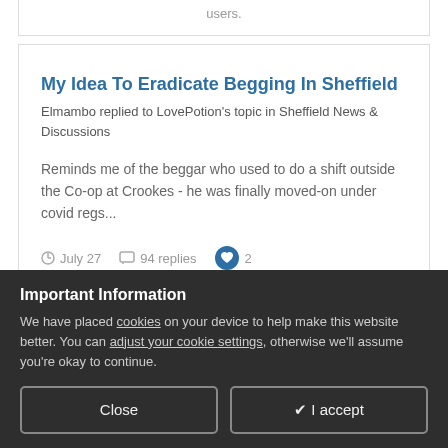users.
My Idea To Eradicate Begging In Sheffield
Elmambo replied to LovePotion's topic in Sheffield News & Discussions
Reminds me of the beggar who used to do a shift outside the Co-op at Crookes - he was finally moved-on under covid regs...
July 27   94 replies   2
Important Information
We have placed cookies on your device to help make this website better. You can adjust your cookie settings, otherwise we'll assume you're okay to continue.
Close
✔ I accept